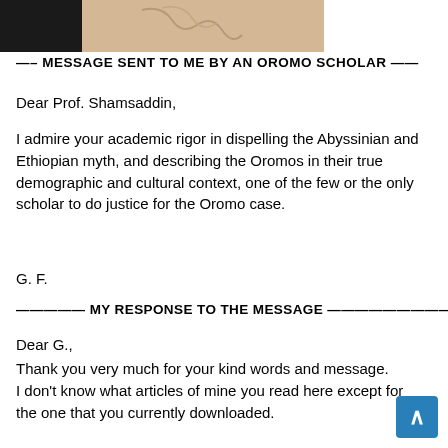[Figure (illustration): Header image with a black silhouette block on the left and a tan/beige decorative curved line illustration on the right]
—– MESSAGE SENT TO ME BY AN OROMO SCHOLAR ——
Dear Prof. Shamsaddin,
I admire your academic rigor in dispelling the Abyssinian and Ethiopian myth, and describing the Oromos in their true demographic and cultural context, one of the few or the only scholar to do justice for the Oromo case.
G. F.
————— MY RESPONSE TO THE MESSAGE —————————-
Dear G.,
Thank you very much for your kind words and message. I don't know what articles of mine you read here except for the one that you currently downloaded.